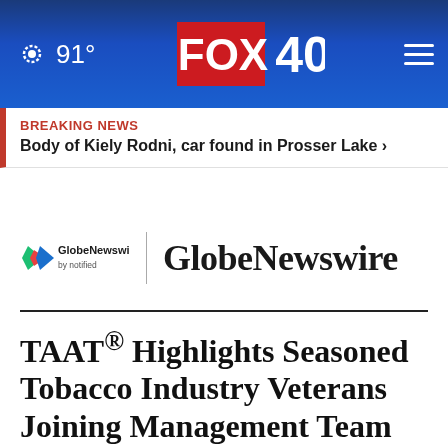91° FOX 40
BREAKING NEWS
Body of Kiely Rodni, car found in Prosser Lake ›
[Figure (logo): GlobeNewswire by notified logo with colored chevron mark, followed by vertical divider and large GlobeNewswire text]
TAAT® Highlights Seasoned Tobacco Industry Veterans Joining Management Team After ADCO Acquisition